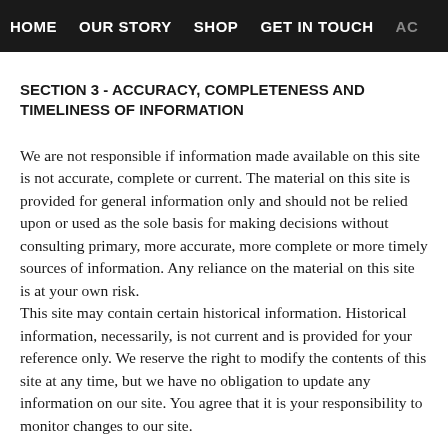HOME   OUR STORY   SHOP   GET IN TOUCH   AC
SECTION 3 - ACCURACY, COMPLETENESS AND TIMELINESS OF INFORMATION
We are not responsible if information made available on this site is not accurate, complete or current. The material on this site is provided for general information only and should not be relied upon or used as the sole basis for making decisions without consulting primary, more accurate, more complete or more timely sources of information. Any reliance on the material on this site is at your own risk. This site may contain certain historical information. Historical information, necessarily, is not current and is provided for your reference only. We reserve the right to modify the contents of this site at any time, but we have no obligation to update any information on our site. You agree that it is your responsibility to monitor changes to our site.